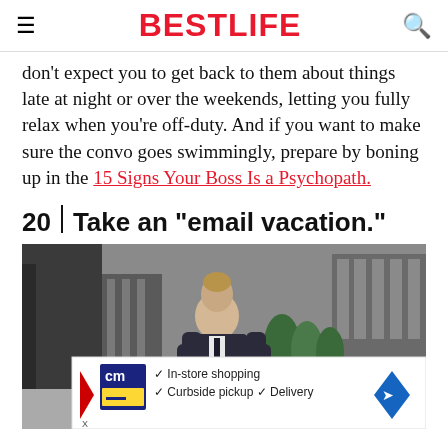BESTLIFE
don't expect you to get back to them about things late at night or over the weekends, letting you fully relax when you're off-duty. And if you want to make sure the convo goes swimmingly, prepare by boning up in the 15 Signs Your Boss Is a Psychopath.
20 | Take an "email vacation."
[Figure (photo): A man in a dark suit sitting outdoors in an urban setting, looking down, with green trees and city buildings in the background. An advertisement banner overlays the bottom of the image for a store (curbside pickup, in-store shopping, delivery).]